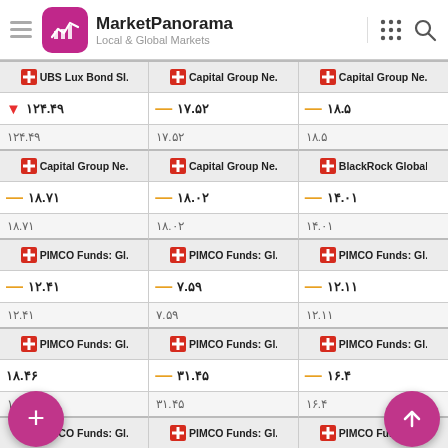MarketPanorama - Local & Global Markets
| Fund | Fund | Fund |
| --- | --- | --- |
| UBS Lux Bond SI... | Capital Group Ne... | Capital Group Ne... |
| ↓ ۱۲۴.۴۹ | — ۱۷.۵۲ | — ۱۸.۵ |
| ۱۲۴.۴۹ | ۱۷.۵۲ | ۱۸.۵ |
| Capital Group Ne... | Capital Group Ne... | BlackRock Global... |
| — ۱۸.۷۱ | — ۱۸.۰۲ | — ۱۴.۰۱ |
| ۱۸.۷۱ | ۱۸.۰۲ | ۱۴.۰۱ |
| PIMCO Funds: Gl... | PIMCO Funds: Gl... | PIMCO Funds: Gl... |
| — ۱۲.۴۱ | — ۷.۵۹ | — ۱۲.۱۱ |
| ۱۲.۴۱ | ۷.۵۹ | ۱۲.۱۱ |
| PIMCO Funds: Gl... | PIMCO Funds: Gl... | PIMCO Funds: Gl... |
| ۱۸.۴۶ | — ۳۱.۴۵ | — ۱۶.۴ |
| ۱۸.۴۶ | ۳۱.۴۵ | ۱۶.۴ |
| PIMCO Funds: Gl... | PIMCO Funds: Gl... | PIMCO Funds: Gl... |